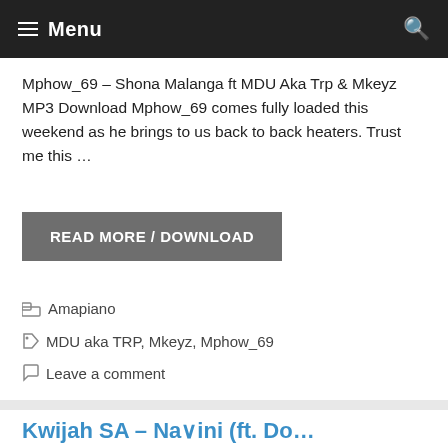Menu
Mphow_69 – Shona Malanga ft MDU Aka Trp & Mkeyz MP3 Download Mphow_69 comes fully loaded this weekend as he brings to us back to back heaters. Trust me this …
READ MORE / DOWNLOAD
Amapiano
MDU aka TRP, Mkeyz, Mphow_69
Leave a comment
Kwijah SA – Nanini (ft. Do…